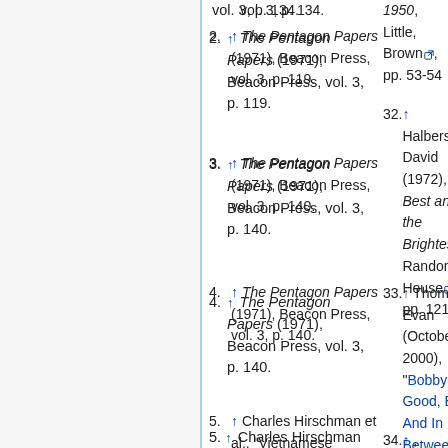vol. 3, p. 134.
2. ↑ The Pentagon Papers (1971), Beacon Press, vol. 3, p. 119.
3. ↑ The Pentagon Papers (1971), Beacon Press, vol. 3, p. 140.
4. ↑ The Pentagon Papers (1971), Beacon Press, vol. 3, p. 140.
5. ↑ Charles Hirschman et al., "Vietnamese Casualties During the American War:
1950, Little, Brown, pp. 53-54
32. ↑ Halberstam, David (1972), The Best and the Brightest, Random House, pp. 121-122
33. ↑ Thomas, Evan (October 2000), "Bobby: Good, Bad, And In Between - Robert F. Kennedy", Washington Monthly
34. ↑ , Chapter 1, "U.S. Programs in South Vietnam, Nov...